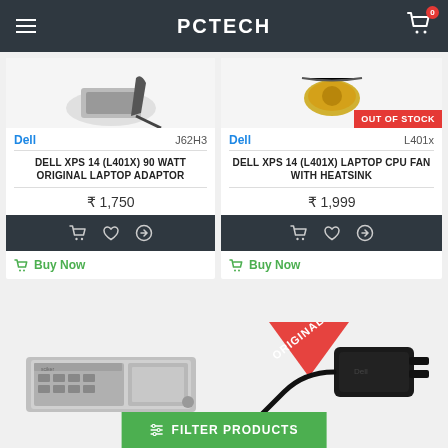PCTECH
Dell  J62H3
DELL XPS 14 (L401X) 90 WATT ORIGINAL LAPTOP ADAPTOR
₹ 1,750
Buy Now
Dell  L401x
DELL XPS 14 (L401X) LAPTOP CPU FAN WITH HEATSINK
₹ 1,999
Buy Now
[Figure (screenshot): Bottom left product card with keyboard image]
[Figure (screenshot): Bottom right product card with ORIGINAL badge and laptop adaptor image]
FILTER PRODUCTS